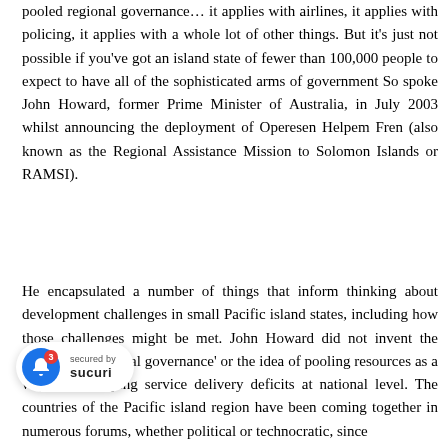pooled regional governance… it applies with airlines, it applies with policing, it applies with a whole lot of other things. But it's just not possible if you've got an island state of fewer than 100,000 people to expect to have all of the sophisticated arms of government So spoke John Howard, former Prime Minister of Australia, in July 2003 whilst announcing the deployment of Operesen Helpem Fren (also known as the Regional Assistance Mission to Solomon Islands or RAMSI).
He encapsulated a number of things that inform thinking about development challenges in small Pacific island states, including how those challenges might be met. John Howard did not invent the concept of 'regional governance' or the idea of pooling resources as a way of remedying service delivery deficits at national level. The countries of the Pacific island region have been coming together in numerous forums, whether political or technocratic, since the establishment of the South Pacific Commission in 1947 (now known as the Secretariat of the Pacific Community or SPC). However, since the Auckland Declaration of 2004
[Figure (other): Sucuri security notification widget overlay showing a blue bell icon with red badge showing '3', and text 'secured by SUCURI']